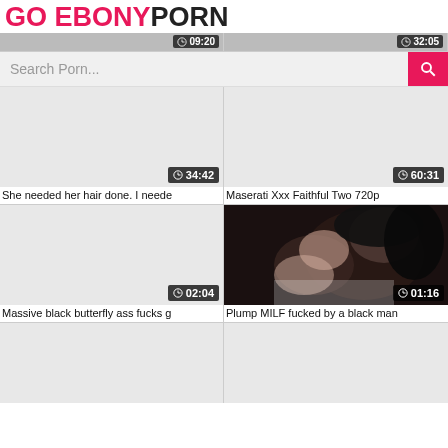GO EBONYPORN
Search Porn...
[Figure (screenshot): Video thumbnail placeholder, duration 09:20]
[Figure (screenshot): Video thumbnail placeholder, duration 32:05]
[Figure (screenshot): Video thumbnail placeholder, duration 34:42]
She needed her hair done. I neede
[Figure (screenshot): Video thumbnail placeholder, duration 60:31]
Maserati Xxx Faithful Two 720p
[Figure (screenshot): Video thumbnail placeholder, duration 02:04]
Massive black butterfly ass fucks g
[Figure (photo): Dark intimate scene photo, duration 01:16]
Plump MILF fucked by a black man
[Figure (screenshot): Video thumbnail placeholder, bottom row left]
[Figure (screenshot): Video thumbnail placeholder, bottom row right]